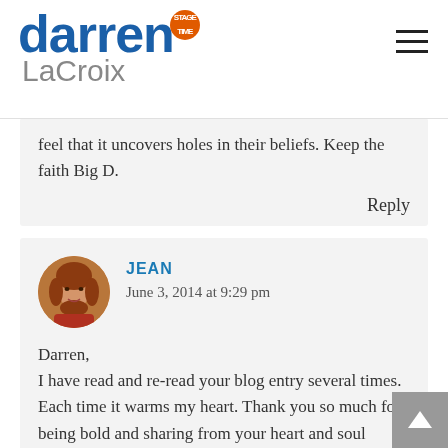darren STAGE TIME LaCroix
feel that it uncovers holes in their beliefs. Keep the faith Big D.
Reply
JEAN
June 3, 2014 at 9:29 pm
Darren,
I have read and re-read your blog entry several times. Each time it warms my heart. Thank you so much for being bold and sharing from your heart and soul